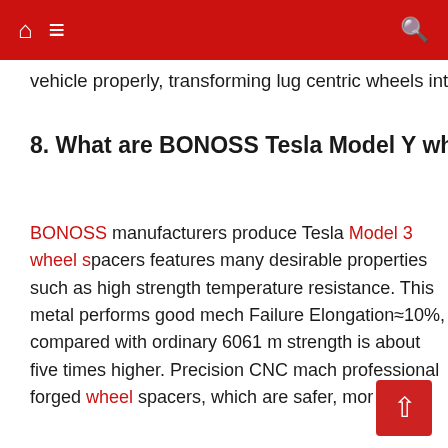Navigation bar with home, menu, and search icons
vehicle properly, transforming lug centric wheels into hub
8. What are BONOSS Tesla Model Y whee
BONOSS manufacturers produce Tesla Model 3 wheel spacers features many desirable properties such as high strength temperature resistance. This metal performs good mechanical Failure Elongation≈10%, compared with ordinary 6061 m strength is about five times higher. Precision CNC mach professional forged wheel spacers, which are safer, mor